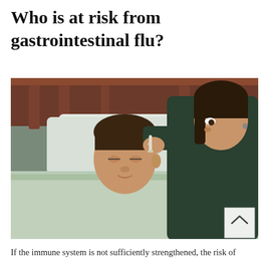Who is at risk from gastrointestinal flu?
[Figure (photo): A mother leaning over a sick child lying in bed, administering nasal drops or medicine. The child appears young, lying under light green blankets. The background shows a wooden headboard and pillows.]
If the immune system is not sufficiently strengthened, the risk of